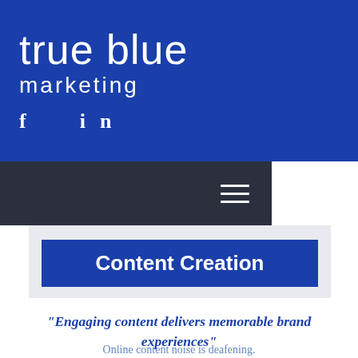[Figure (logo): True Blue Marketing logo on blue background with social media icons (f and in)]
[Figure (screenshot): Dark navy navigation bar with hamburger menu icon (three horizontal lines) on the right side]
Content Creation
"Engaging content delivers memorable brand experiences"
Online content noise is deafening.